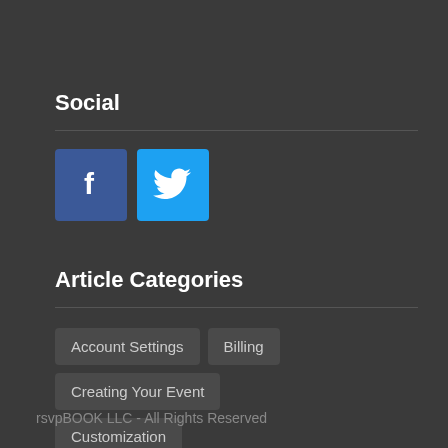Social
[Figure (illustration): Facebook and Twitter social media icon buttons. Facebook icon is a blue square with white 'f' letter. Twitter icon is a light blue square with white bird logo.]
Article Categories
Account Settings
Billing
Creating Your Event
Customization
rsvpBOOK LLC - All Rights Reserved